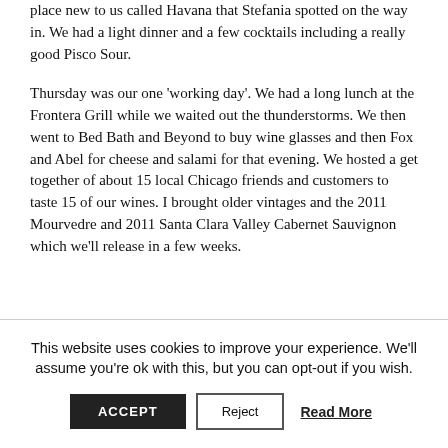place new to us called Havana that Stefania spotted on the way in. We had a light dinner and a few cocktails including a really good Pisco Sour.
Thursday was our one 'working day'. We had a long lunch at the Frontera Grill while we waited out the thunderstorms. We then went to Bed Bath and Beyond to buy wine glasses and then Fox and Abel for cheese and salami for that evening. We hosted a get together of about 15 local Chicago friends and customers to taste 15 of our wines. I brought older vintages and the 2011 Mourvedre and 2011 Santa Clara Valley Cabernet Sauvignon which we'll release in a few weeks.
This website uses cookies to improve your experience. We'll assume you're ok with this, but you can opt-out if you wish.
ACCEPT   Reject   Read More